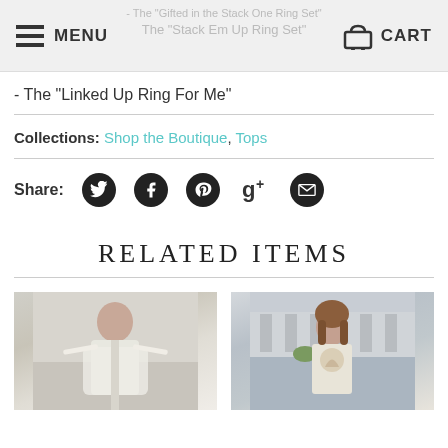MENU | CART
- The "Linked Up Ring For Me"
Collections: Shop the Boutique, Tops
Share: [Twitter] [Facebook] [Pinterest] [Google+] [Email]
RELATED ITEMS
[Figure (photo): Woman in white lace caftan dress outdoors]
[Figure (photo): Woman in pastel graphic tee near pool]